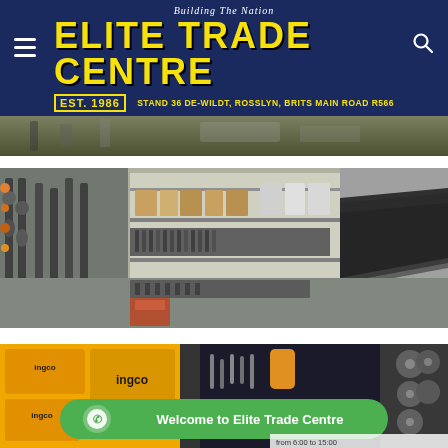[Figure (logo): Elite Trade Centre logo on dark navy blue header bar. Yellow bold text 'ELITE TRADE CENTRE' with tagline 'Building The Nation' in italic white above, EST. 1986 in yellow bordered box bottom left, address STAND 36 DE-WILDT, ROSSLYN, BRITS MAIN ROAD R566 in yellow bottom right. Hamburger menu icon on left, search icon on right.]
[Figure (photo): Partial view of a store interior showing shelves, partially visible at top of page.]
[Figure (photo): Interior of Elite Trade Centre hardware store showing display shelves lined with tools including hammers, pliers, chisels and other hand tools. Shelves stacked with boxed products in background.]
[Figure (photo): Display of yellow Ingco branded power tools and equipment in the store, with a green WhatsApp button overlay reading 'Welcome to Elite Trade Centre' and a small badge showing store hours 'from 6:00 to 15:00'.]